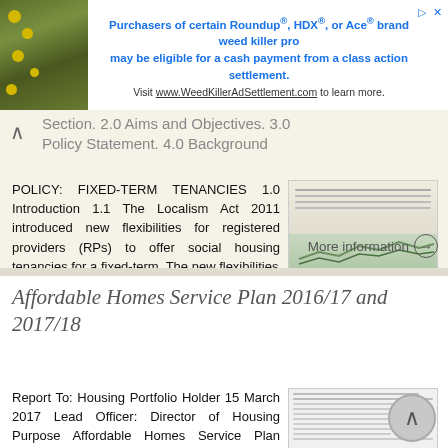[Figure (screenshot): Advertisement banner for Roundup/HDX/Ace weed killer class action settlement with photo of yellow flowers on stone background]
Purchasers of certain Roundup®, HDX®, or Ace® brand weed killer products may be eligible for a cash payment from a class action settlement. Visit www.WeedKillerAdSettlement.com to learn more.
Section. 2.0 Aims and Objectives. 3.0 Policy Statement. 4.0 Background
POLICY: FIXED-TERM TENANCIES 1.0 Introduction 1.1 The Localism Act 2011 introduced new flexibilities for registered providers (RPs) to offer social housing tenancies for a fixed-term. The new flexibilities
More information →
Affordable Homes Service Plan 2016/17 and 2017/18
Report To: Housing Portfolio Holder 15 March 2017 Lead Officer: Director of Housing Purpose Affordable Homes Service Plan 2016/17 and 2017/18 1. To provide the Housing Portfolio Holder with an update on